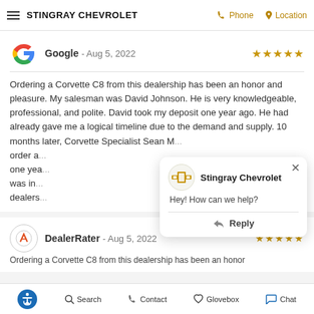STINGRAY CHEVROLET  Phone  Location
Google - Aug 5, 2022
Ordering a Corvette C8 from this dealership has been an honor and pleasure. My salesman was David Johnson. He is very knowledgeable, professional, and polite. David took my deposit one year ago. He had already gave me a logical timeline due to the demand and supply. 10 months later, Corvette Specialist Sean M... order a... one yea... was in... dealers...
Stingray Chevrolet
Hey! How can we help?
Reply
DealerRater - Aug 5, 2022
Ordering a Corvette C8 from this dealership has been an honor
Search  Contact  Glovebox  Chat